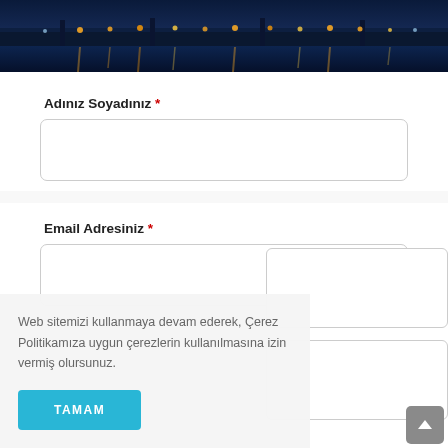[Figure (photo): Night cityscape with bridge lights reflecting on water, dark blue sky]
Adınız Soyadınız *
[Figure (other): Text input field for Adınız Soyadınız]
Email Adresiniz *
[Figure (other): Text input field for Email Adresiniz]
Web sitemizi kullanmaya devam ederek, Çerez Politikamıza uygun çerezlerin kullanılmasına izin vermiş olursunuz.
TAMAM